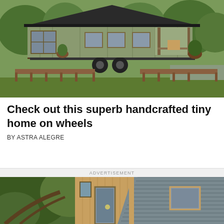[Figure (photo): Exterior photo of a tiny home on wheels with green siding, large windows, wooden deck/porch, parked on grass with trees in background]
Check out this superb handcrafted tiny home on wheels
BY ASTRA ALEGRE
ADVERTISEMENT
[Figure (photo): Close-up exterior photo of a modern tiny home with corrugated metal siding and wood accents, surrounded by trees and greenery]